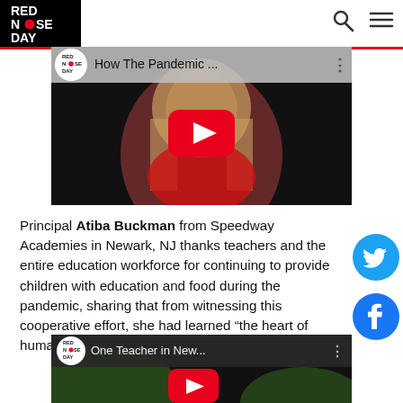Red Nose Day
[Figure (screenshot): YouTube video thumbnail showing 'How The Pandemic...' video with Red Nose Day logo, a woman with blonde hair in red clothing, and a YouTube play button]
Principal Atiba Buckman from Speedway Academies in Newark, NJ thanks teachers and the entire education workforce for continuing to provide children with education and food during the pandemic, sharing that from witnessing this cooperative effort, she had learned "the heart of humanity."
[Figure (screenshot): YouTube video thumbnail showing 'One Teacher in New...' video with Red Nose Day logo and YouTube play button]